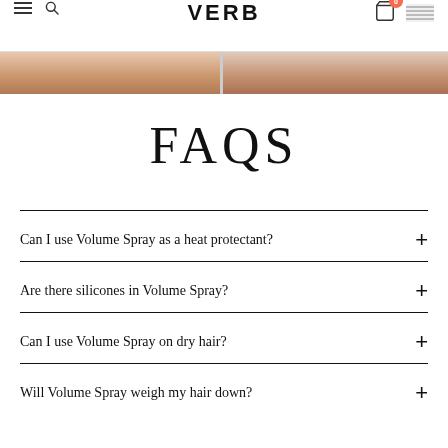VERB
[Figure (photo): Partial image strip showing close-up of hair/face, split into two panels]
FAQS
Can I use Volume Spray as a heat protectant?
Are there silicones in Volume Spray?
Can I use Volume Spray on dry hair?
Will Volume Spray weigh my hair down?